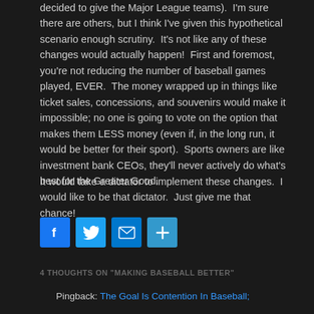decided to give the Major League teams).  I'm sure there are others, but I think I've given this hypothetical scenario enough scrutiny.  It's not like any of these changes would actually happen!  First and foremost, you're not reducing the number of baseball games played, EVER.  The money wrapped up in things like ticket sales, concessions, and souvenirs would make it impossible; no one is going to vote on the option that makes them LESS money (even if, in the long run, it would be better for their sport).  Sports owners are like investment bank CEOs, they'll never actively do what's best for the Greater Good.
It would take a dictator to implement these changes.  I would like to be that dictator.  Just give me that chance!
[Figure (other): Social media sharing icons: Facebook (blue), Twitter (blue bird), Email (envelope), Share/More (plus sign)]
4 THOUGHTS ON "MAKING BASEBALL BETTER"
Pingback: The Goal Is Contention In Baseball;